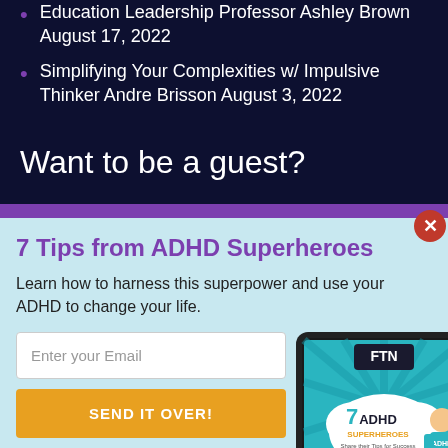Education Leadership Professor Ashley Brown August 17, 2022
Simplifying Your Complexities w/ Impulsive Thinker Andre Brisson August 3, 2022
Want to be a guest?
7 Tips from ADHD Superheroes
Learn how to harness this superpower and use your ADHD to change your life.
Enter your Email
SEND IT OVER!
No Thanks
[Figure (illustration): Tablet device showing '7ADHD Superheroes Share their Tips for Success' book cover with FTN logo and superhero character]